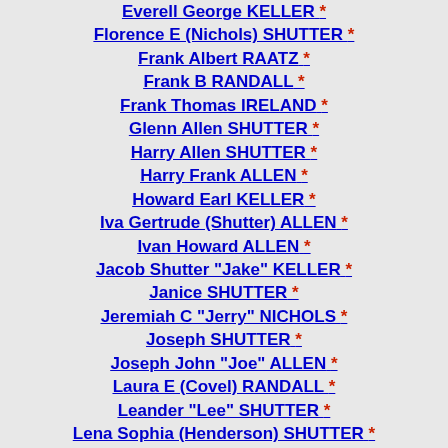Everell George KELLER *
Florence E (Nichols) SHUTTER *
Frank Albert RAATZ *
Frank B RANDALL *
Frank Thomas IRELAND *
Glenn Allen SHUTTER *
Harry Allen SHUTTER *
Harry Frank ALLEN *
Howard Earl KELLER *
Iva Gertrude (Shutter) ALLEN *
Ivan Howard ALLEN *
Jacob Shutter "Jake" KELLER *
Janice SHUTTER *
Jeremiah C "Jerry" NICHOLS *
Joseph SHUTTER *
Joseph John "Joe" ALLEN *
Laura E (Covel) RANDALL *
Leander "Lee" SHUTTER *
Lena Sophia (Henderson) SHUTTER *
Leroy E KELLER *
Lester Deane SHUTTER *
Lloyd B ALLEN *